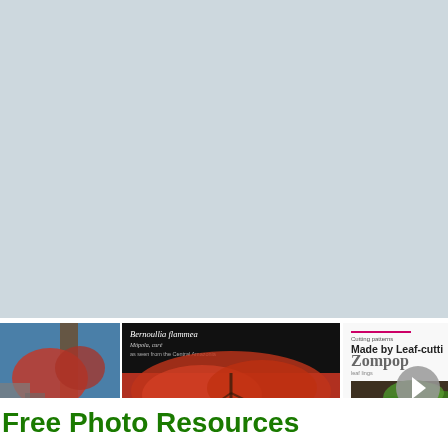[Figure (screenshot): Light blue/grey background area filling the upper portion of the page, representing a website interface background]
[Figure (screenshot): Carousel of book covers on white panel. First book: partial cover with autumn tree and ruins. Second book: Bernoullia flammea, Mopola, red, as seen from the Central America, Natural History of Tikal. Third book: Cutting patterns Made by Leaf-cutting Zompop ants.]
Free Photo Resources